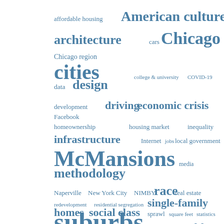[Figure (infographic): Tag cloud / word cloud with terms related to urban studies, housing, and city planning. Terms are rendered in various sizes indicating frequency/importance, all in a steel-blue color. Terms include: affordable housing, American culture, architecture, cars, Chicago, Chicago region, cities, college & university, COVID-19, data, design, development, driving, economic crisis, Facebook, homeownership, housing market, inequality, infrastructure, Internet, jobs, local government, McMansions, media, methodology, Naperville, New York City, NIMBY, race, real estate, redevelopment, residential segregation, single-family homes, social class, sprawl, square feet, statistics, suburbs, urban planning, wealthy.]